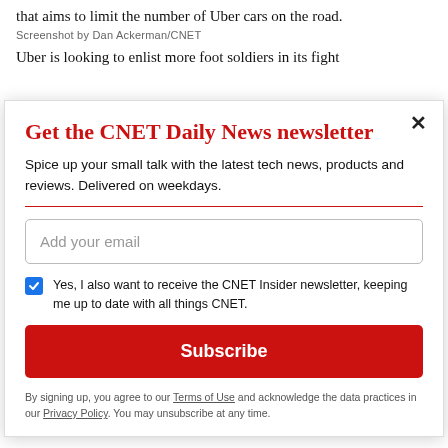that aims to limit the number of Uber cars on the road.
Screenshot by Dan Ackerman/CNET
Uber is looking to enlist more foot soldiers in its fight
Get the CNET Daily News newsletter
Spice up your small talk with the latest tech news, products and reviews. Delivered on weekdays.
Add your email
Yes, I also want to receive the CNET Insider newsletter, keeping me up to date with all things CNET.
Subscribe
By signing up, you agree to our Terms of Use and acknowledge the data practices in our Privacy Policy. You may unsubscribe at any time.